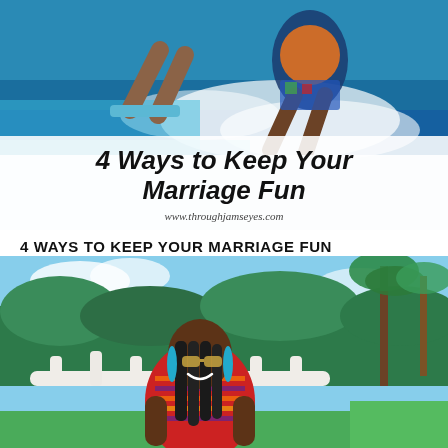[Figure (photo): Two people water skiing on bright blue ocean water, one wearing colorful swim trunks and an orange life vest]
4 Ways to Keep Your Marriage Fun
www.throughjamseyes.com
4 WAYS TO KEEP YOUR MARRIAGE FUN
[Figure (photo): A smiling woman wearing a red striped off-shoulder top, large hoop earrings, and glasses, standing in front of a white balustrade with tropical greenery and palm trees in the background]